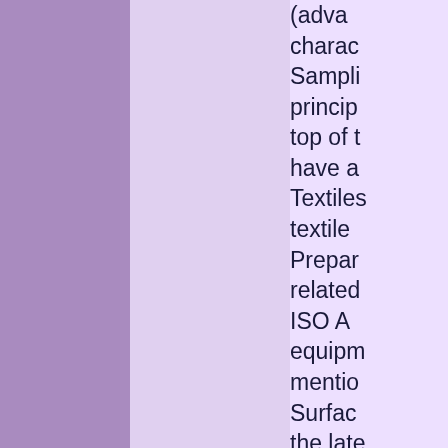(advanced characteristics. Sampling principles top of the have a Textiles: textile Preparation related ISO A equipment mentioned Surface the late Destruction specimen Pyrotechnics Requirements and do Standards